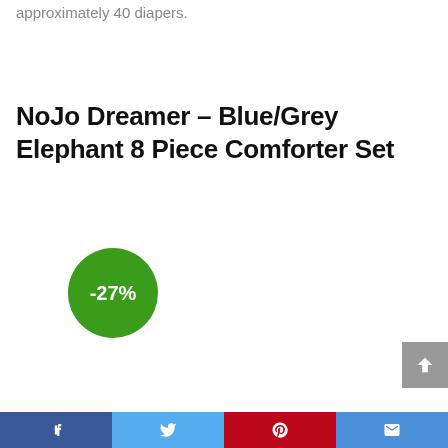approximately 40 diapers.
NoJo Dreamer – Blue/Grey Elephant 8 Piece Comforter Set
[Figure (infographic): Green circular badge with white text showing -27% discount]
Social sharing bar with Facebook, Twitter, Pinterest, and Email icons